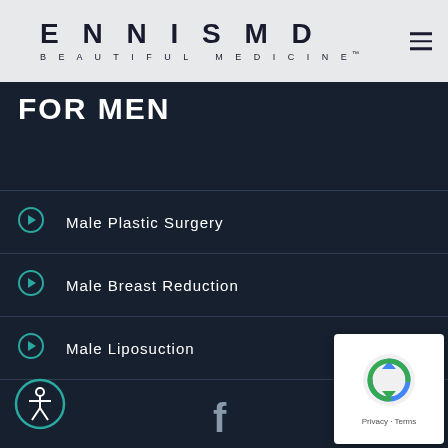ENNISMD BEAUTIFUL MEDICINE™
FOR MEN
Male Plastic Surgery
Male Breast Reduction
Male Liposuction
[Figure (illustration): Circular accessibility icon with a human figure, outlined in white on dark teal background]
[Figure (logo): Facebook 'f' logo icon in white]
[Figure (other): reCAPTCHA widget showing puzzle icon with Privacy and Terms text]